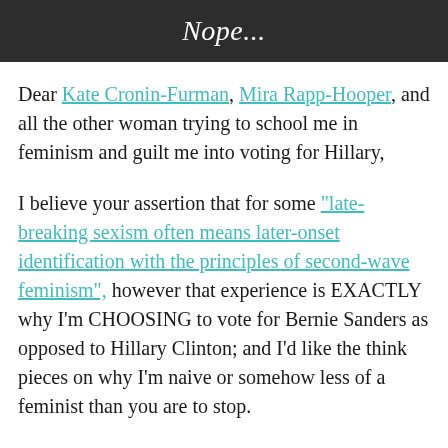Nope...
Dear Kate Cronin-Furman, Mira Rapp-Hooper, and all the other woman trying to school me in feminism and guilt me into voting for Hillary,
I believe your assertion that for some "late-breaking sexism often means later-onset identification with the principles of second-wave feminism", however that experience is EXACTLY why I'm CHOOSING to vote for Bernie Sanders as opposed to Hillary Clinton; and I'd like the think pieces on why I'm naive or somehow less of a feminist than you are to stop.